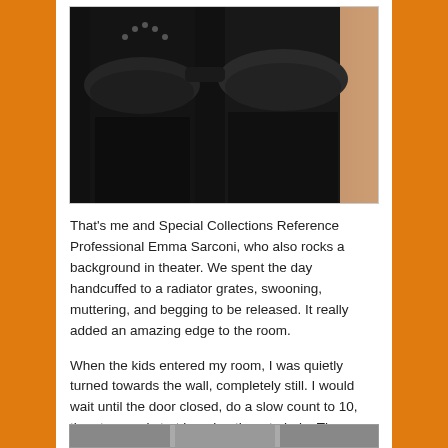[Figure (photo): Two people dressed in black Victorian/gothic costumes with ruffled sleeves and long black skirts, standing in front of a stone wall.]
That's me and Special Collections Reference Professional Emma Sarconi, who also rocks a background in theater. We spent the day handcuffed to a radiator grates, swooning, muttering, and begging to be released. It really added an amazing edge to the room.
When the kids entered my room, I was quietly turned towards the wall, completely still. I would wait until the door closed, do a slow count to 10, then turn and start begging them to help. They were SHOCKED to find the kidnapped heiress actually in the room! It was awesome!
[Figure (photo): Partial image visible at the bottom of the page (cut off).]